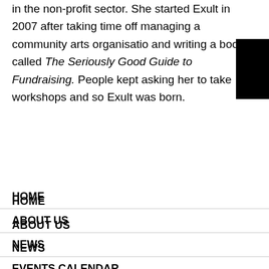in the non-profit sector. She started Exult in 2007 after taking time off managing a community arts organisation and writing a book called The Seriously Good Guide to Fundraising. People kept asking her to take workshops and so Exult was born.
HOME
ABOUT US
NEWS
EVENTS CALENDAR
BLOGS & ARTICLES
FELLOWSHIPS
AWARDS
NEWSLETTERS